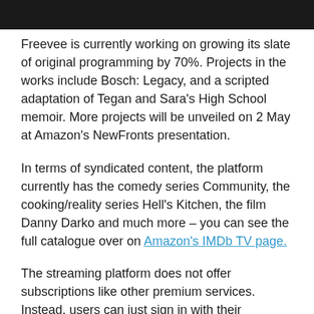[Figure (photo): Dark/black photo strip at top of page, partially visible image]
Freevee is currently working on growing its slate of original programming by 70%. Projects in the works include Bosch: Legacy, and a scripted adaptation of Tegan and Sara's High School memoir. More projects will be unveiled on 2 May at Amazon's NewFronts presentation.
In terms of syndicated content, the platform currently has the comedy series Community, the cooking/reality series Hell's Kitchen, the film Danny Darko and much more – you can see the full catalogue over on Amazon's IMDb TV page.
The streaming platform does not offer subscriptions like other premium services. Instead, users can just sign in with their standard Amazon account (a